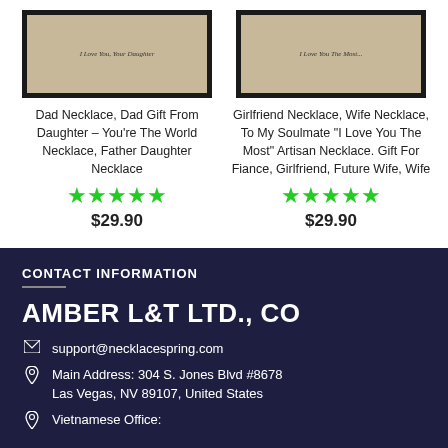[Figure (photo): Product image of Dad Necklace in black box with inscription 'I Love You, Your Daughter']
Dad Necklace, Dad Gift From Daughter – You're The World Necklace, Father Daughter Necklace
★★★★★ $29.90
[Figure (photo): Product image of Girlfriend Necklace in black box with inscription 'I Love You The Most']
Girlfriend Necklace, Wife Necklace, To My Soulmate "I Love You The Most" Artisan Necklace. Gift For Fiance, Girlfriend, Future Wife, Wife
★★★★★ $29.90
CONTACT INFORMATION
AMBER L&T LTD., CO
support@necklacespring.com
Main Address: 304 S. Jones Blvd #8678
Las Vegas, NV 89107, United States
Vietnamese Office: